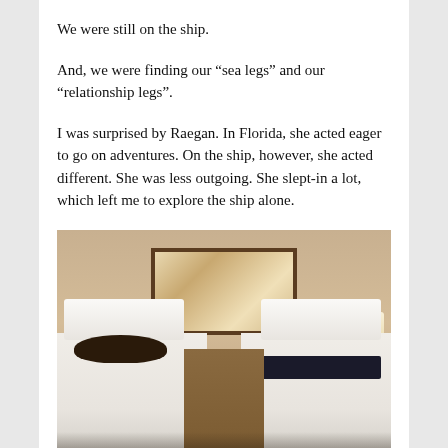We were still on the ship.
And, we were finding our “sea legs” and our “relationship legs”.
I was surprised by Raegan. In Florida, she acted eager to go on adventures. On the ship, however, she acted different. She was less outgoing. She slept-in a lot, which left me to explore the ship alone.
[Figure (photo): A dimly lit ship cabin with two single beds separated by a nightstand. A person is sleeping in the left bed under white covers. Both beds have white pillows. Small lamps are on either side. A large mirror hangs on the wall between the wooden headboards.]